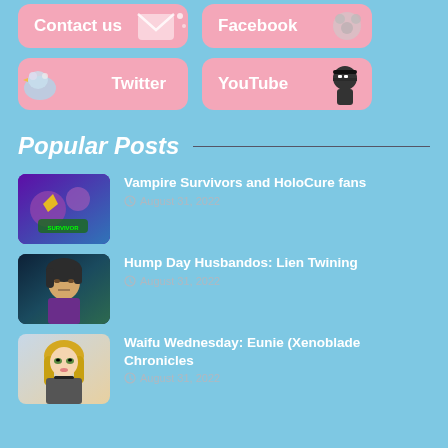[Figure (infographic): Contact us button with envelope icon on pink rounded rectangle]
[Figure (infographic): Facebook button with icon on pink rounded rectangle]
[Figure (infographic): Twitter button with bird icon on pink rounded rectangle]
[Figure (infographic): YouTube button with ninja icon on pink rounded rectangle]
Popular Posts
[Figure (photo): Vampire Survivors game art thumbnail]
Vampire Survivors and HoloCure fans
August 31, 2022
[Figure (photo): Anime male character thumbnail for Hump Day Husbandos]
Hump Day Husbandos: Lien Twining
August 31, 2022
[Figure (photo): Anime female character thumbnail for Waifu Wednesday Eunie]
Waifu Wednesday: Eunie (Xenoblade Chronicles
August 31, 2022